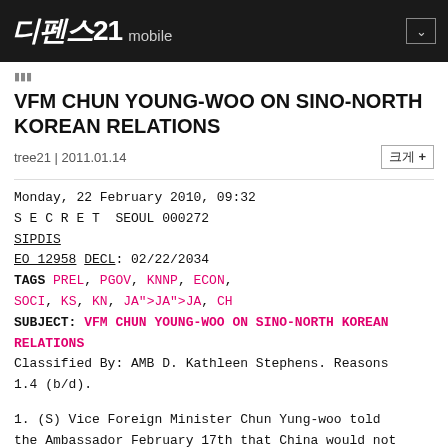디펜스21 mobile
000
VFM CHUN YOUNG-WOO ON SINO-NORTH KOREAN RELATIONS
tree21 | 2011.01.14
Monday, 22 February 2010, 09:32
S E C R E T  SEOUL 000272
SIPDIS
EO 12958 DECL: 02/22/2034
TAGS PREL, PGOV, KNNP, ECON,
SOCI, KS, KN, JA">JA">JA, CH
SUBJECT: VFM CHUN YOUNG-WOO ON SINO-NORTH KOREAN RELATIONS
Classified By: AMB D. Kathleen Stephens. Reasons
1.4 (b/d).
1. (S) Vice Foreign Minister Chun Yung-woo told the Ambassador February 17th that China would not be able to stop North Korea's collapse following